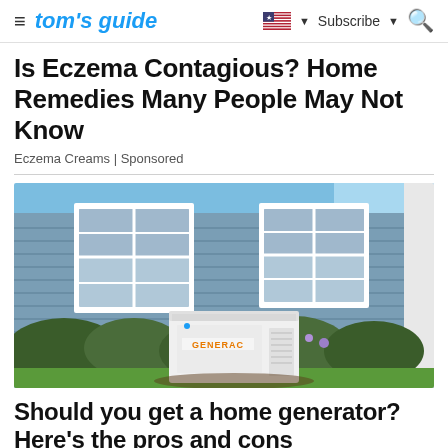≡  tom's guide  🇺🇸 ▼  Subscribe ▼  🔍
Is Eczema Contagious? Home Remedies Many People May Not Know
Eczema Creams | Sponsored
[Figure (photo): A white Generac home standby generator installed outside a blue house with white trim windows and green shrubbery in front, with green lawn.]
Should you get a home generator? Here's the pros and cons